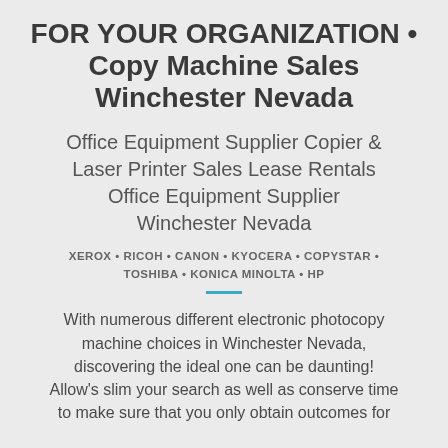FOR YOUR ORGANIZATION • Copy Machine Sales Winchester Nevada
Office Equipment Supplier Copier & Laser Printer Sales Lease Rentals Office Equipment Supplier Winchester Nevada
XEROX • RICOH • CANON • KYOCERA • COPYSTAR • TOSHIBA • KONICA MINOLTA • HP
With numerous different electronic photocopy machine choices in Winchester Nevada, discovering the ideal one can be daunting! Allow's slim your search as well as conserve time to make sure that you only obtain outcomes for